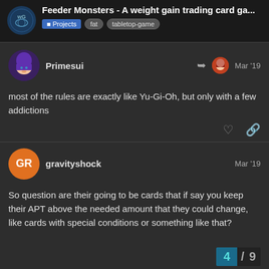Feeder Monsters - A weight gain trading card ga... | Projects | fat | tabletop-game
most of the rules are exactly like Yu-Gi-Oh, but only with a few addictions
So question are their going to be cards that if say you keep their APT above the needed amount that they could change, like cards with special conditions or something like that?
4 / 9